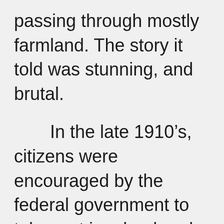passing through mostly farmland. The story it told was stunning, and brutal.

        In the late 1910’s, citizens were encouraged by the federal government to take part in a land-grab in western Texas, Oaklahoma, and other states, for purposes of farming. They broke up the soil of the